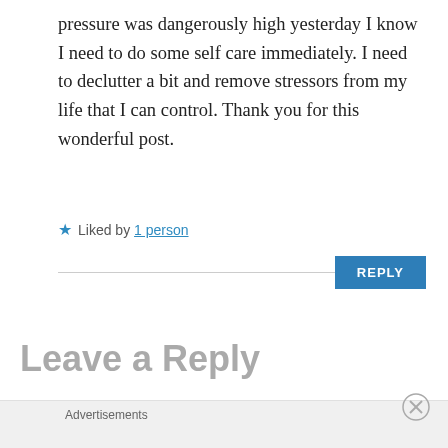pressure was dangerously high yesterday I know I need to do some self care immediately. I need to declutter a bit and remove stressors from my life that I can control. Thank you for this wonderful post.
★ Liked by 1 person
REPLY
Leave a Reply
Advertisements